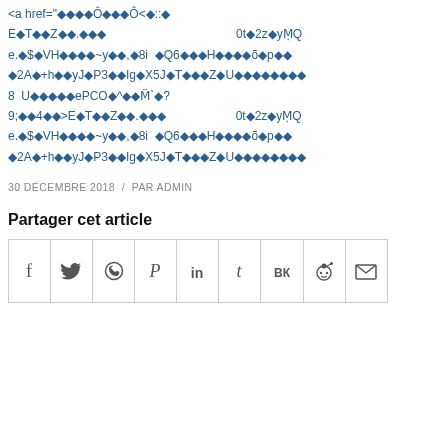<a href="◈◈◈◈Ô◈◈◈Ô<◈::◈ E◈T◈◈Z◈◈.◈◈◈                    0t◈2z◈yM̱Q e.◈$◈VH◈◈◈◈~y◈◈,◈8i  ◈Q6◈◈◈H◈◈◈◈õ◈p◈◈ ◈2A◈+h◈◈yJ◈P3◈◈Ig◈X5J◈T◈◈◈Z◈U◈◈◈◈◈◈◈◈ 8  U◈◈◈◈◈ePCO◈^◈◈M̈`◈? 9;◈◈4◈◈>E◈T◈◈Z◈◈.◈◈◈        0t◈2z◈yM̱Q e.◈$◈VH◈◈◈◈~y◈◈,◈8i  ◈Q6◈◈◈H◈◈◈◈õ◈p◈◈ ◈2A◈+h◈◈yJ◈P3◈◈Ig◈X5J◈T◈◈◈Z◈U◈◈◈◈◈◈◈◈
30 DÉCEMBRE 2018  /  PAR ADMIN
Partager cet article
[Figure (other): Social sharing icon row with icons for Facebook, Twitter, WhatsApp, Pinterest, LinkedIn, Tumblr, VK, Reddit, and Email in a bordered grid]